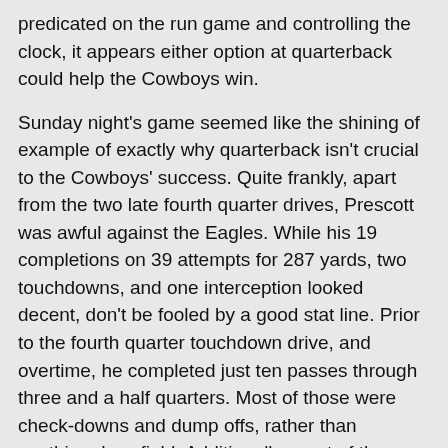predicated on the run game and controlling the clock, it appears either option at quarterback could help the Cowboys win.
Sunday night's game seemed like the shining of example of exactly why quarterback isn't crucial to the Cowboys' success. Quite frankly, apart from the two late fourth quarter drives, Prescott was awful against the Eagles. While his 19 completions on 39 attempts for 287 yards, two touchdowns, and one interception looked decent, don't be fooled by a good stat line. Prior to the fourth quarter touchdown drive, and overtime, he completed just ten passes through three and a half quarters. Most of those were check-downs and dump offs, rather than anything downfield. Additionally, most of the yards the offense gained “through the air” were actually penalties drawn by  very talented receivers.
It was by no means because of Prescott that the Cowboys came back against Philly.
In fact, the muted impact of the quarterback has been an underrated story line of the Cowboys' offensive success this season. Dallas runs the football 51.5% of the time, more than any team in the NFL. Additionally, despite the Cowboys incredible success on offense, and the fact that they run 67